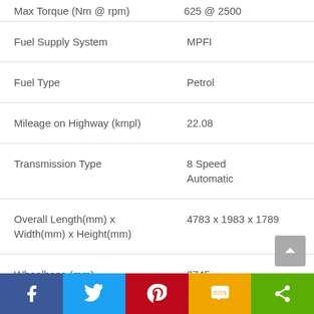| Specification | Value |
| --- | --- |
| Max Torque (Nm @ rpm) | 625 @ 2500 |
| Fuel Supply System | MPFI |
| Fuel Type | Petrol |
| Mileage on Highway (kmpl) | 22.08 |
| Transmission Type | 8 Speed Automatic |
| Overall Length(mm) x Width(mm) x Height(mm) | 4783 x 1983 x 1789 |
| Wheelbase (mm) | 2745 |